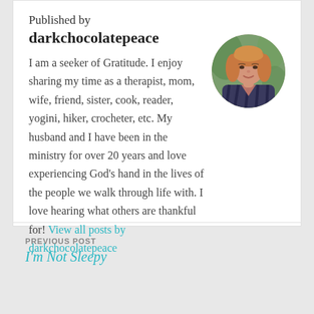Published by
darkchocolatepeace
[Figure (photo): Circular avatar photo of a woman with shoulder-length reddish-blonde hair wearing a striped top, photographed outdoors]
I am a seeker of Gratitude. I enjoy sharing my time as a therapist, mom, wife, friend, sister, cook, reader, yogini, hiker, crocheter, etc. My husband and I have been in the ministry for over 20 years and love experiencing God's hand in the lives of the people we walk through life with. I love hearing what others are thankful for! View all posts by darkchocolatepeace
PREVIOUS POST
I'm Not Sleepy